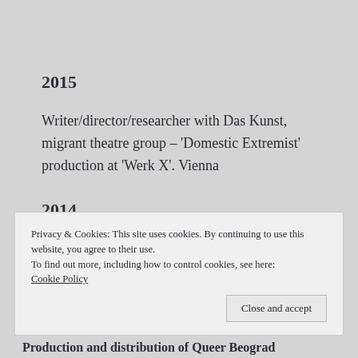2015
Writer/director/researcher with Das Kunst, migrant theatre group – 'Domestic Extremist' production at 'Werk X'. Vienna
2014
Privacy & Cookies: This site uses cookies. By continuing to use this website, you agree to their use.
To find out more, including how to control cookies, see here: Cookie Policy
Production and distribution of Queer Beograd